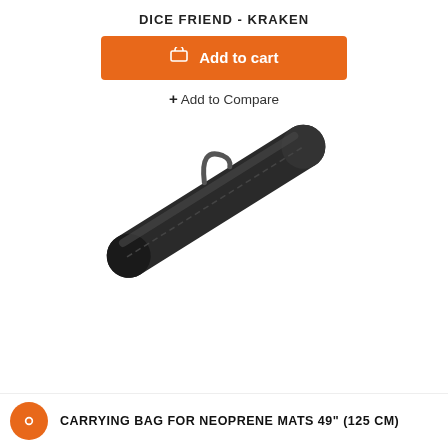DICE FRIEND - KRAKEN
Add to cart
+ Add to Compare
[Figure (photo): A long black cylindrical carrying bag with a shoulder strap, shown diagonally from lower-left to upper-right against a white background.]
CARRYING BAG FOR NEOPRENE MATS 49" (125 CM)